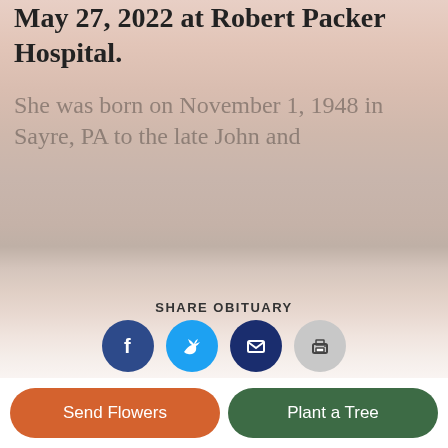May 27, 2022 at Robert Packer Hospital.
She was born on November 1, 1948 in Sayre, PA to the late John and
Read More
SHARE OBITUARY
[Figure (infographic): Four social sharing icon buttons: Facebook (dark blue circle with f), Twitter (cyan circle with bird), Email (dark blue circle with envelope), Print (gray circle with printer)]
Services
CELEBRATION OF LIFE
Directions
Send Flowers
Plant a Tree